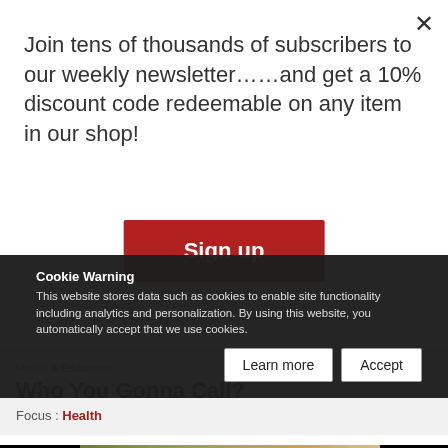Join tens of thousands of subscribers to our weekly newsletter……and get a 10% discount code redeemable on any item in our shop!
Sign up
Health & Education
Who You Gonna Call?
Focus : Health
[Figure (photo): Partial view of green and tan plant seeds or nuts]
Cookie Warning
This website stores data such as cookies to enable site functionality including analytics and personalization. By using this website, you automatically accept that we use cookies.
Learn more
Accept